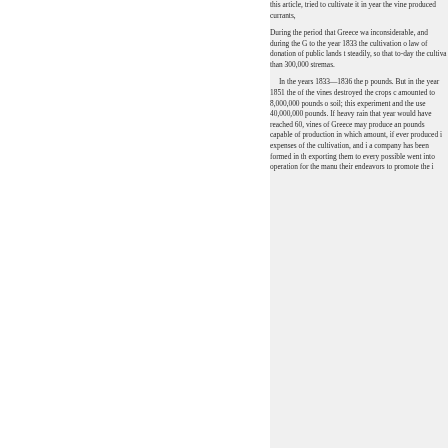this article, tried to cultivate it in year the vine produced currants,
During the period that Greece was inconsiderable, and during the G to the year 1833 the cultivation o law of donation of public lands t steadily, so that to-day the cultiva than 300,000 stremas.
In the years 1833—1836 the p pounds. But in the year 1851 the of the vines destroyed the crops amounted to 8,000,000 pounds o soil; this experiment and the use 40,000,000 pounds. If heavy rain that year would have reached 60, vines of Greece may produce an pounds capable of production in which amount, if ever produced expenses of the cultivation, and a company has been formed in th exporting them to every possible went into operation for the manu their endeavors to promote the i